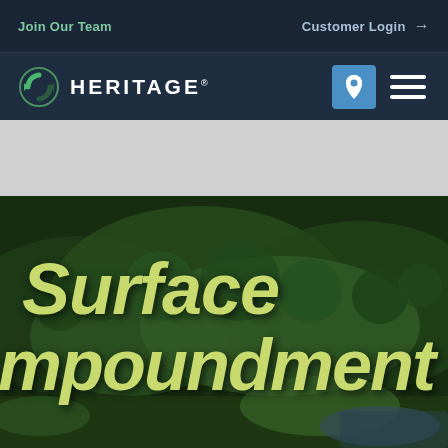Join Our Team | Customer Login →
[Figure (logo): Heritage Environmental Services logo with circular arrow icon and HERITAGE® wordmark in white on dark navy background, with location pin button and hamburger menu icons]
[Figure (photo): Aerial photo of a green forested hillside and surface impoundment landscape, overlaid with large italic bold text reading 'Surface Impoundment' in yellow-green color]